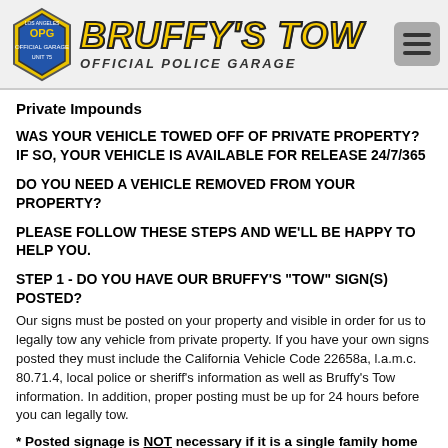BRUFFY'S TOW - OFFICIAL POLICE GARAGE
Private Impounds
WAS YOUR VEHICLE TOWED OFF OF PRIVATE PROPERTY? IF SO, YOUR VEHICLE IS AVAILABLE FOR RELEASE 24/7/365
DO YOU NEED A VEHICLE REMOVED FROM YOUR PROPERTY?
PLEASE FOLLOW THESE STEPS AND WE'LL BE HAPPY TO HELP YOU.
STEP 1 - DO YOU HAVE OUR BRUFFY'S "TOW" SIGN(S) POSTED?
Our signs must be posted on your property and visible in order for us to legally tow any vehicle from private property. If you have your own signs posted they must include the California Vehicle Code 22658a, l.a.m.c. 80.71.4, local police or sheriff's information as well as Bruffy's Tow information. In addition, proper posting must be up for 24 hours before you can legally tow.
* Posted signage is NOT necessary if it is a single family home